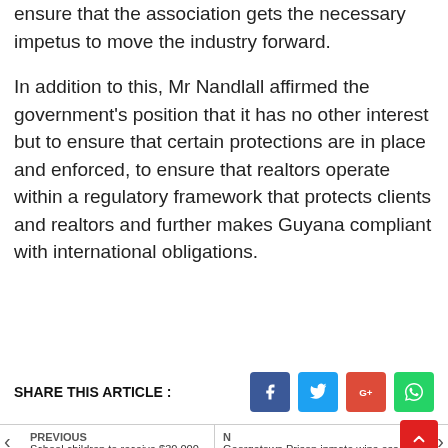encouragement that is needed, and will do all that it can to ensure that the association gets the necessary impetus to move the industry forward.
In addition to this, Mr Nandlall affirmed the government's position that it has no other interest but to ensure that certain protections are in place and enforced, to ensure that realtors operate within a regulatory framework that protects clients and realtors and further makes Guyana compliant with international obligations.
SHARE THIS ARTICLE :
PREVIOUS
School children to receive $30,000 cash ...
N...
Georgetown Prison inmate wins ess...